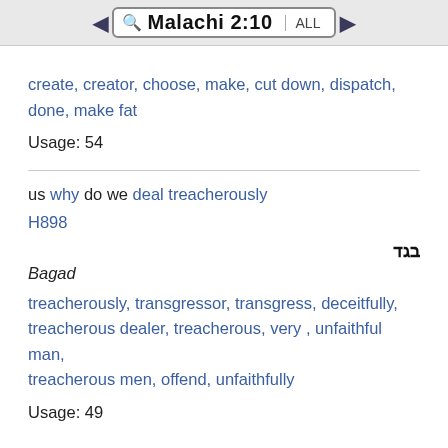Malachi 2:10
create, creator, choose, make, cut down, dispatch, done, make fat
Usage: 54
us why do we deal treacherously
H898
בגד
Bagad
treacherously, transgressor, transgress, deceitfully, treacherous dealer, treacherous, very , unfaithful man, treacherous men, offend, unfaithfully
Usage: 49